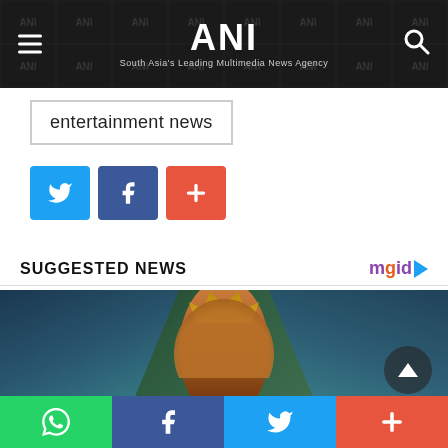ANI — South Asia's Leading Multimedia News Agency
entertainment news
[Figure (other): Social share buttons: Twitter (blue bird), Facebook (blue f), and a red plus button]
SUGGESTED NEWS
[Figure (photo): A woman wearing an elaborate golden crown/headpiece and large feathered wings (teal/blue feathers), with curly reddish-blonde hair and dramatic makeup including dark lips; carnival or festival costume]
[Figure (other): Bottom share bar with WhatsApp (green), Facebook (blue), Twitter (light blue), and plus (red-orange) buttons]